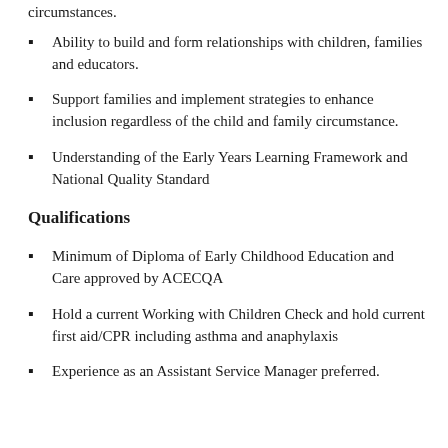circumstances.
Ability to build and form relationships with children, families and educators.
Support families and implement strategies to enhance inclusion regardless of the child and family circumstance.
Understanding of the Early Years Learning Framework and National Quality Standard
Qualifications
Minimum of Diploma of Early Childhood Education and Care approved by ACECQA
Hold a current Working with Children Check and hold current first aid/CPR including asthma and anaphylaxis
Experience as an Assistant Service Manager preferred.